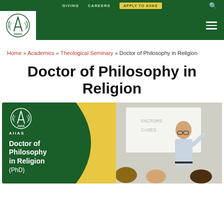GIVING   CAREERS   APPLY TO AIIAS
[Figure (logo): AIIAS institution logo — white circular emblem with stylized A and laurel wreath, green background header bar with hamburger menu icon]
Home » Academics » Theological Seminary » Doctor of Philosophy in Religion
Doctor of Philosophy in Religion
[Figure (photo): AIIAS branded promotional image with dark green left panel showing AIIAS logo and text 'Doctor of Philosophy in Religion (PhD)', yellow arc divider, and right side photo of a male professor teaching students in a classroom]